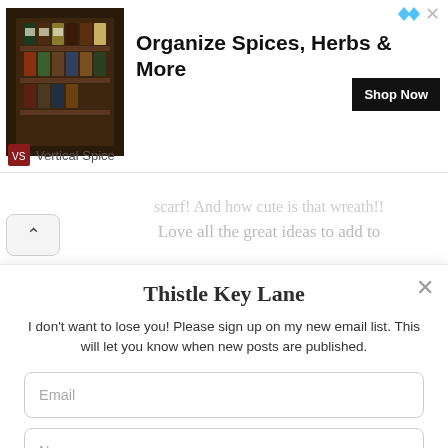[Figure (illustration): Advertisement banner: spice rack organizer photo on left, bold headline 'Organize Spices, Herbs & More' in center, 'Shop Now' black button on right, 'Vertical Spice' brand name at bottom left, close and ad icon at top right.]
scarf! And how cute is that wreath!!
Love all the great ideas to add to
Thistle Key Lane
I don't want to lose you! Please sign up on my new email list. This will let you know when new posts are published.
Email
Name
Opt in to receive news and updates.
SUBSCRIBE